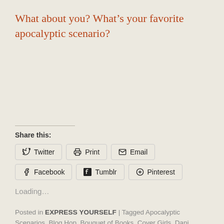What about you? What’s your favorite apocalyptic scenario?
Share this:
Twitter | Print | Email | Facebook | Tumblr | Pinterest
Loading…
Posted in EXPRESS YOURSELF | Tagged Apocalyptic Scenarios, Blog Hop, Bouquet of Books, Cover Girls, Dani Bertrand, Entertaining